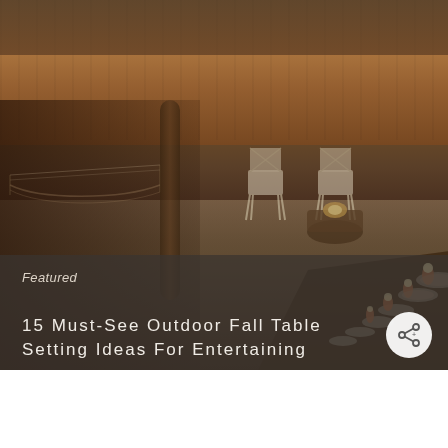[Figure (photo): Outdoor backyard dinner party with a long table set for many guests, decorated with terracotta pumpkins, candles, and floral plates. White cross-back chairs visible near a fire pit in the background. A hammock hangs on the left. Wooden fence surrounds the backyard.]
Featured
15 Must-See Outdoor Fall Table Setting Ideas For Entertaining